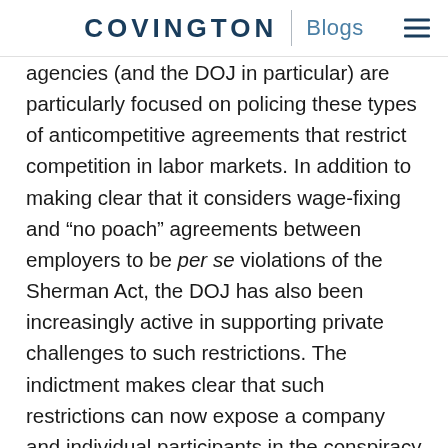COVINGTON | Blogs
agencies (and the DOJ in particular) are particularly focused on policing these types of anticompetitive agreements that restrict competition in labor markets. In addition to making clear that it considers wage-fixing and “no poach” agreements between employers to be per se violations of the Sherman Act, the DOJ has also been increasingly active in supporting private challenges to such restrictions. The indictment makes clear that such restrictions can now expose a company and individual participants in the conspiracy to criminal, as well as civil, liability.